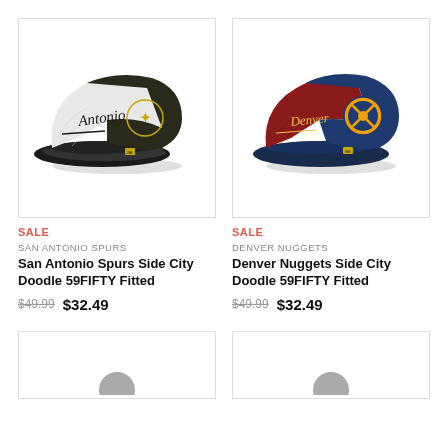[Figure (photo): San Antonio Spurs Side City Doodle 59FIFTY Fitted cap — two-tone black and white/grey textured design with 'Antonio' script and Spurs star logo]
SALE
SAN ANTONIO SPURS
San Antonio Spurs Side City Doodle 59FIFTY Fitted
$49.99  $32.49
[Figure (photo): Denver Nuggets Side City Doodle 59FIFTY Fitted cap — two-tone navy and red design with 'Denver' script and Nuggets circular logo]
SALE
DENVER NUGGETS
Denver Nuggets Side City Doodle 59FIFTY Fitted
$49.99  $32.49
[Figure (photo): Partially visible cap product (bottom left, cropped)]
[Figure (photo): Partially visible cap product (bottom right, cropped)]